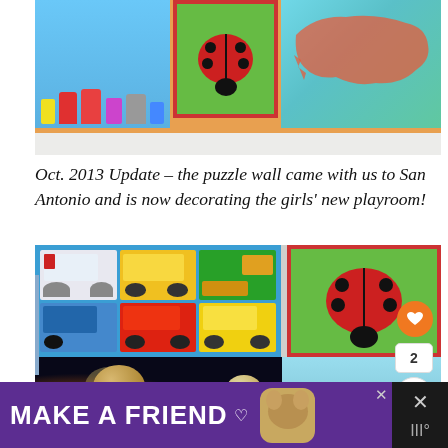[Figure (photo): Top photo showing colorful children's puzzles mounted on an orange wall: robots puzzle on blue background (left), ladybug puzzle with red border (center), USA map puzzle on teal background (right)]
Oct. 2013 Update – the puzzle wall came with us to San Antonio and is now decorating the girls' new playroom!
[Figure (photo): Bottom photo showing children's puzzles on a white wall: vehicles puzzle (ambulance, bus, excavator, train, fire truck, taxi) on blue background (left), ladybug puzzle with red frame (right), and bottom row showing solar system puzzle and another puzzle]
[Figure (photo): Advertisement banner: 'MAKE A FRIEND' in white text on purple background with dog image and heart icon]